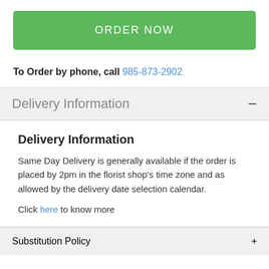[Figure (other): Green ORDER NOW button]
To Order by phone, call 985-873-2902
Delivery Information −
Delivery Information
Same Day Delivery is generally available if the order is placed by 2pm in the florist shop's time zone and as allowed by the delivery date selection calendar.
Click here to know more
Substitution Policy +